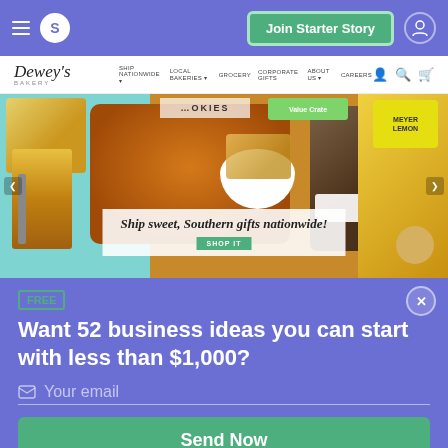S  Join Starter Story
[Figure (screenshot): Dewey's Bakery website screenshot showing navigation bar and hero image with baked goods and text 'Ship sweet, Southern gifts nationwide!']
FREE
Want 52 business ideas you can start with less than $1,000?
Your email
Send Now